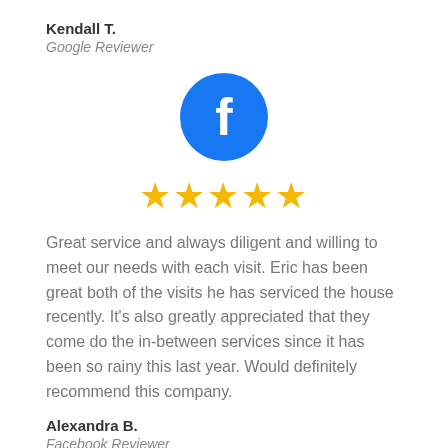Kendall T.
Google Reviewer
[Figure (logo): Facebook logo: blue circle with white lowercase 'f']
[Figure (other): Five gold star rating]
Great service and always diligent and willing to meet our needs with each visit. Eric has been great both of the visits he has serviced the house recently. It’s also greatly appreciated that they come do the in-between services since it has been so rainy this last year. Would definitely recommend this company.
Alexandra B.
Facebook Reviewer